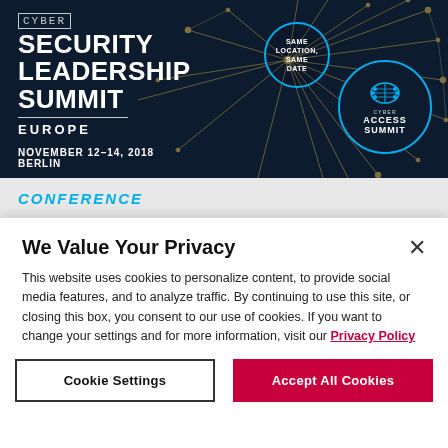[Figure (illustration): Cyber Security Leadership Summit Europe banner with dark navy background, golden network/node graphic lines spreading from right side, text on left reading CYBER SECURITY LEADERSHIP SUMMIT EUROPE NOVEMBER 12-14, 2018 BERLIN, a circular badge saying SAME LOCATION, SAME DATE, and a Cyber Access Summit circular logo with circuit-brain icon on right.]
CONFERENCE
We Value Your Privacy
This website uses cookies to personalize content, to provide social media features, and to analyze traffic. By continuing to use this site, or closing this box, you consent to our use of cookies. If you want to change your settings and for more information, visit our Privacy Policy
Cookie Settings
Accept All Cookies